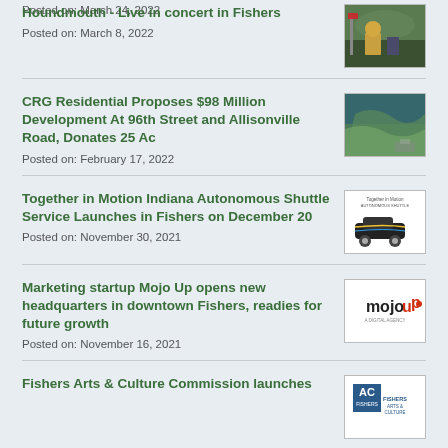Posted on: March 24, 2022
Houndmouth - Live in concert in Fishers
Posted on: March 8, 2022
[Figure (photo): Outdoor concert scene with person in yellow shirt]
CRG Residential Proposes $98 Million Development At 96th Street and Allisonville Road, Donates 25 Ac
Posted on: February 17, 2022
[Figure (photo): Aerial map view of development area]
Together in Motion Indiana Autonomous Shuttle Service Launches in Fishers on December 20
Posted on: November 30, 2021
[Figure (photo): Autonomous shuttle vehicle illustration]
Marketing startup Mojo Up opens new headquarters in downtown Fishers, readies for future growth
Posted on: November 16, 2021
[Figure (logo): Mojo Up company logo]
Fishers Arts & Culture Commission launches
[Figure (logo): Fishers Arts & Culture logo]